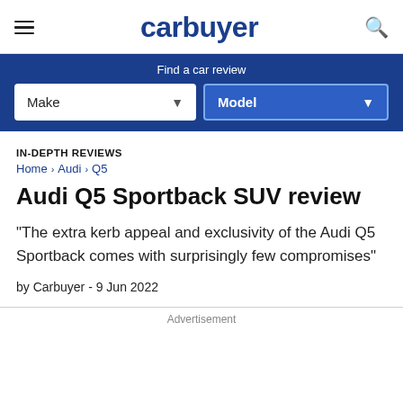carbuyer
Find a car review
Make | Model
IN-DEPTH REVIEWS
Home › Audi › Q5
Audi Q5 Sportback SUV review
"The extra kerb appeal and exclusivity of the Audi Q5 Sportback comes with surprisingly few compromises"
by Carbuyer  -  9 Jun 2022
Advertisement